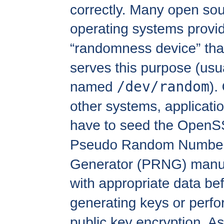unpredictable data to work correctly. Many open source operating systems provide a "randomness device" that serves this purpose (usually named /dev/random). On other systems, applications have to seed the OpenSSL Pseudo Random Number Generator (PRNG) manually with appropriate data before generating keys or performing public key encryption. As of version 0.9.5, the OpenSSL functions that need randomness report an error if the PRNG has not been seeded with at least 128 bits of randomness.